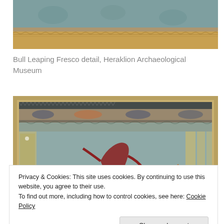[Figure (photo): Top portion of a fresco detail from Heraklion Archaeological Museum, showing decorative patterns and muted teal/gold tones]
Bull Leaping Fresco detail, Heraklion Archaeological Museum
[Figure (photo): Bull Leaping Fresco displayed in a frame at Heraklion Archaeological Museum. The fresco shows a large bull with figures leaping over it, in orange/brown and blue-grey tones, with decorative border patterns.]
Privacy & Cookies: This site uses cookies. By continuing to use this website, you agree to their use.
To find out more, including how to control cookies, see here: Cookie Policy
Close and accept
Bull Leaping Fresco, Heraklion Archaeological Museum